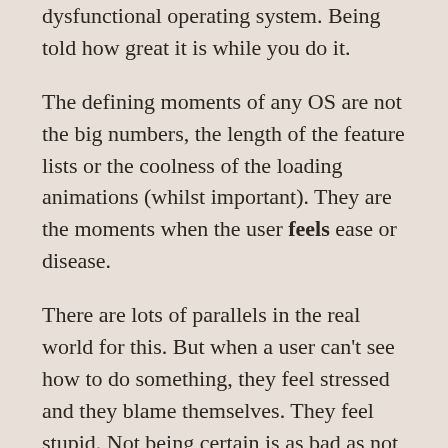dysfunctional operating system. Being told how great it is while you do it.
The defining moments of any OS are not the big numbers, the length of the feature lists or the coolness of the loading animations (whilst important). They are the moments when the user feels ease or disease.
There are lots of parallels in the real world for this. But when a user can't see how to do something, they feel stressed and they blame themselves. They feel stupid. Not being certain is as bad as not knowing at all. Will what I'm doing really erase all my files? Am I actually in the ladies' section, because I quite like those trainers? When users are agitated or nervous